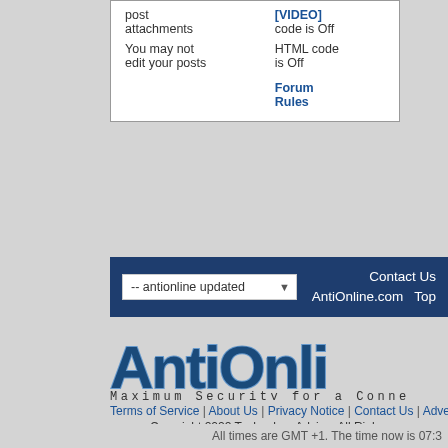| post attachments | [VIDEO] code is Off |
| You may not edit your posts | HTML code is Off |
|  | Forum Rules |
[Figure (screenshot): Navigation bar with dropdown '-- antionline updated' and links 'Contact Us', 'AntiOnline.com', 'Top' on dark blue background]
[Figure (logo): AntiOnline logo with text 'Maximum Security for a Conne...' tagline]
Terms of Service | About Us | Privacy Notice | Contact Us | Adverti...
Copyright 2022 TechnologyAdvice. All Righ...
Advertiser Disclosure: Some of the products that appear on this s... TechnologyAdvice receives compensation. This compensation ma... appear on this site including, for example, the order in which they include all companies or all types of products available in the marko...
All times are GMT +1. The time now is 07:3...